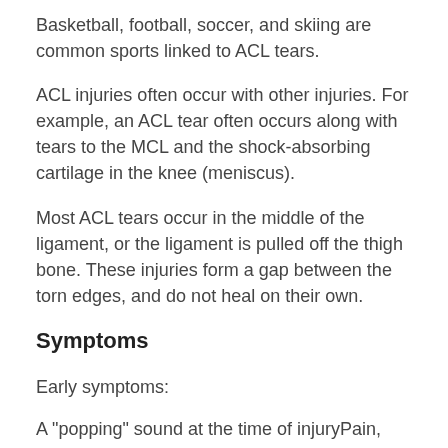Basketball, football, soccer, and skiing are common sports linked to ACL tears.
ACL injuries often occur with other injuries. For example, an ACL tear often occurs along with tears to the MCL and the shock-absorbing cartilage in the knee (meniscus).
Most ACL tears occur in the middle of the ligament, or the ligament is pulled off the thigh bone. These injuries form a gap between the torn edges, and do not heal on their own.
Symptoms
Early symptoms:
A "popping" sound at the time of injuryPain, especially when you try to put weight on the injured